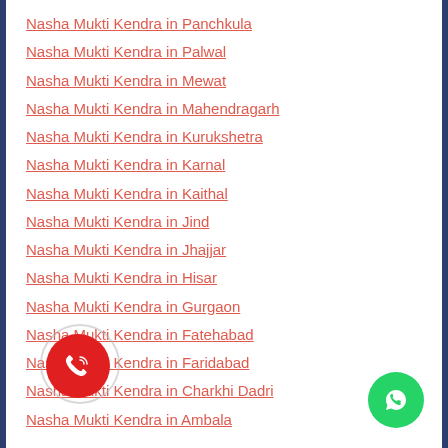Nasha Mukti Kendra in Panchkula
Nasha Mukti Kendra in Palwal
Nasha Mukti Kendra in Mewat
Nasha Mukti Kendra in Mahendragarh
Nasha Mukti Kendra in Kurukshetra
Nasha Mukti Kendra in Karnal
Nasha Mukti Kendra in Kaithal
Nasha Mukti Kendra in Jind
Nasha Mukti Kendra in Jhajjar
Nasha Mukti Kendra in Hisar
Nasha Mukti Kendra in Gurgaon
Nasha Mukti Kendra in Fatehabad
Nasha Mukti Kendra in Faridabad
Nasha Mukti Kendra in Charkhi Dadri
Nasha Mukti Kendra in Ambala